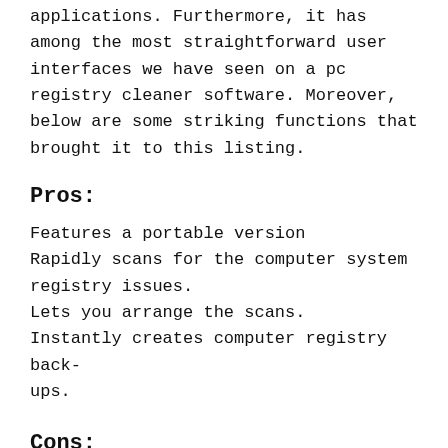applications. Furthermore, it has among the most straightforward user interfaces we have seen on a pc registry cleaner software. Moreover, below are some striking functions that brought it to this listing.
Pros:
Features a portable version
Rapidly scans for the computer system registry issues.
Lets you arrange the scans.
Instantly creates computer registry back-ups.
Cons: